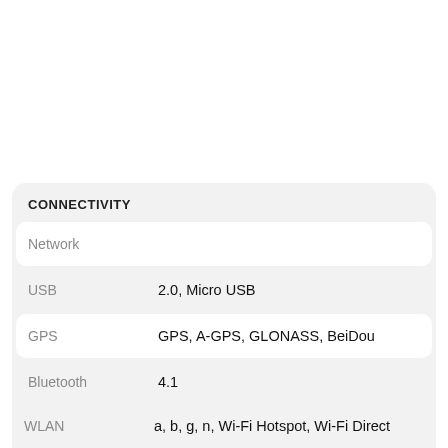CONNECTIVITY
| Feature | Value |
| --- | --- |
| Network |  |
| USB | 2.0, Micro USB |
| GPS | GPS, A-GPS, GLONASS, BeiDou |
| Bluetooth | 4.1 |
| WLAN | a, b, g, n, Wi-Fi Hotspot, Wi-Fi Direct |